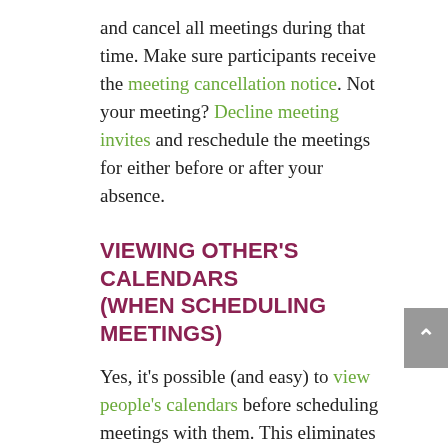and cancel all meetings during that time. Make sure participants receive the meeting cancellation notice. Not your meeting? Decline meeting invites and reschedule the meetings for either before or after your absence.
VIEWING OTHER'S CALENDARS (WHEN SCHEDULING MEETINGS)
Yes, it's possible (and easy) to view people's calendars before scheduling meetings with them. This eliminates playing long games of e-mail scheduling ping-pong.
People's calendars are typically visible by default so you generally won't need to ask permission